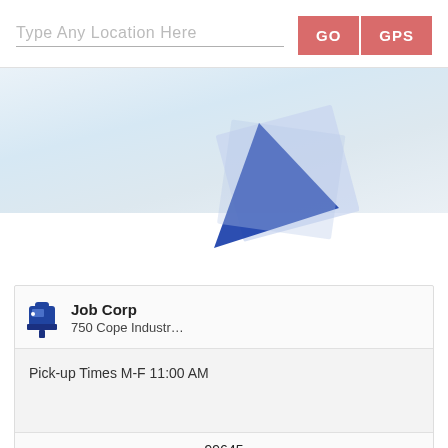Type Any Location Here
GO
GPS
[Figure (screenshot): Map area showing a light blue/grey gradient map with a map pin overlay graphic consisting of a blue envelope/cursor shape.]
Job Corp
750 Cope Industr…
Pick-up Times M-F 11:00 AM
99645
Palmer Post Office